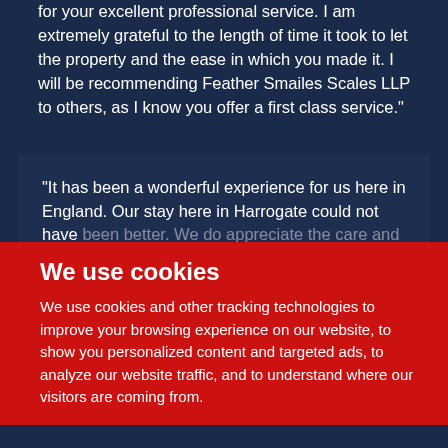for your excellent professional service. I am extremely grateful to the length of time it took to let the property and the ease in which you made it. I will be recommending Feather Smailes Scales LLP to others, as I know you offer a first class service."
"It has been a wonderful experience for us here in England. Our stay here in Harrogate could not have been better. We do appreciate the care and attention that your company have shown us during our tenancy. Several of our friends have asked how we managed to find such a beautiful place to live. We have simply referred them to you.
We use cookies
We use cookies and other tracking technologies to improve your browsing experience on our website, to show you personalized content and targeted ads, to analyze our website traffic, and to understand where our visitors are coming from.